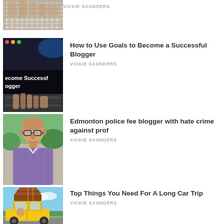[Figure (photo): Hands typing on a white keyboard on a wooden desk]
VICKIE SAUNDERS
[Figure (photo): Dark screen showing text 'become Successful Blogger' with person typing on laptop]
How to Use Goals to Become a Successful Blogger
VICKIE SAUNDERS
[Figure (photo): Bald man with glasses outdoors]
Edmonton police fee blogger with hate crime against prof
VICKIE SAUNDERS
[Figure (photo): Yellow car with luggage stacked on roof]
Top Things You Need For A Long Car Trip
VICKIE SAUNDERS